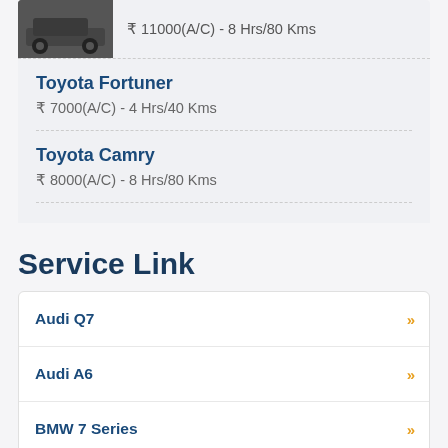₹11000(A/C) - 8 Hrs/80 Kms
Toyota Fortuner
₹7000(A/C) - 4 Hrs/40 Kms
Toyota Camry
₹8000(A/C) - 8 Hrs/80 Kms
Service Link
Audi Q7
Audi A6
BMW 7 Series